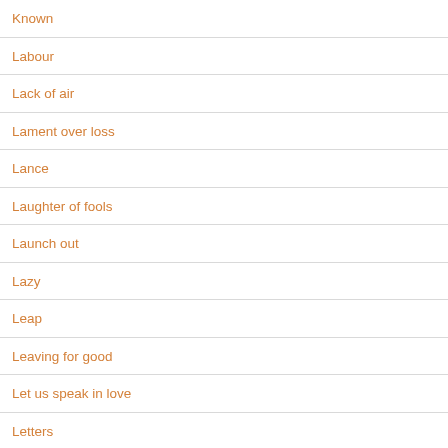Known
Labour
Lack of air
Lament over loss
Lance
Laughter of fools
Launch out
Lazy
Leap
Leaving for good
Let us speak in love
Letters